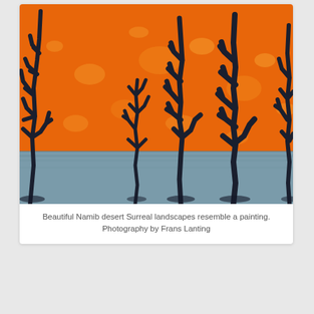[Figure (photo): Photograph of dead trees with dark silhouetted bare branches against a vivid orange sand dune background, with a blue-grey clay pan in the foreground. Namib desert landscape by Frans Lanting.]
Beautiful Namib desert Surreal landscapes resemble a painting. Photography by Frans Lanting